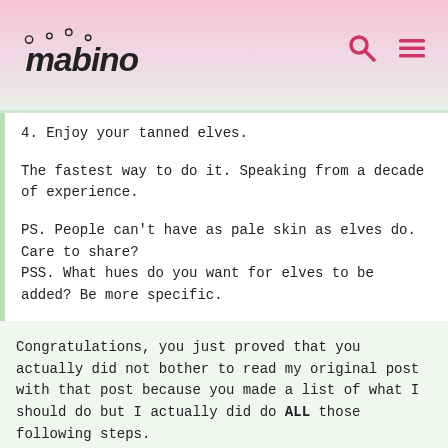Mabinogi
4. Enjoy your tanned elves.
The fastest way to do it. Speaking from a decade of experience.
PS. People can't have as pale skin as elves do. Care to share?
PSS. What hues do you want for elves to be added? Be more specific.
Congratulations, you just proved that you actually did not bother to read my original post with that post because you made a list of what I should do but I actually did do ALL those following steps.
Also, you still will fully enjoy the game even if elves does end up getting the dark skintones because it's not going to effect you in any ways, it is not going to hurt or kill you in any form and they didn't mention anything about the